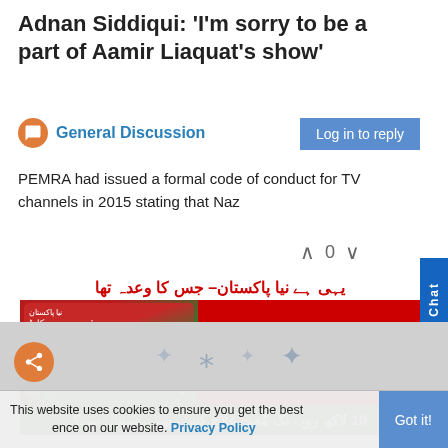Adnan Siddiqui: 'I'm sorry to be a part of Aamir Liaquat's show'
General Discussion
Log in to reply
PEMRA had issued a formal code of conduct for TV channels in 2015 stating that Naz
0
Live Chat
[Figure (photo): Advertisement image in Urdu showing a health card (Sehat Card) promotion with text in Urdu and red/green colors. Top Urdu text in red, left side shows a green/red card with crescent moon, right side red background with white Urdu text, bottom green bar with Urdu text about 10 lakh rupees free treatment.]
This website uses cookies to ensure you get the best experience on our website. Privacy Policy
Got it!